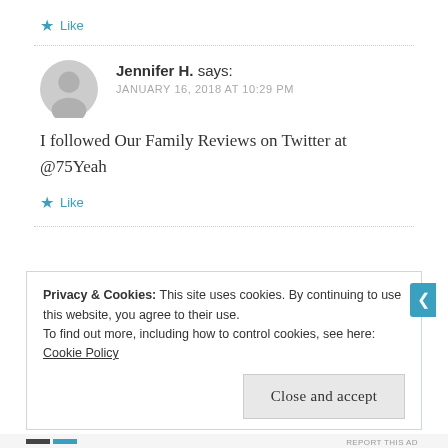★ Like
Jennifer H. says: JANUARY 16, 2018 AT 10:29 PM
I followed Our Family Reviews on Twitter at @75Yeah
★ Like
Privacy & Cookies: This site uses cookies. By continuing to use this website, you agree to their use. To find out more, including how to control cookies, see here: Cookie Policy
Close and accept